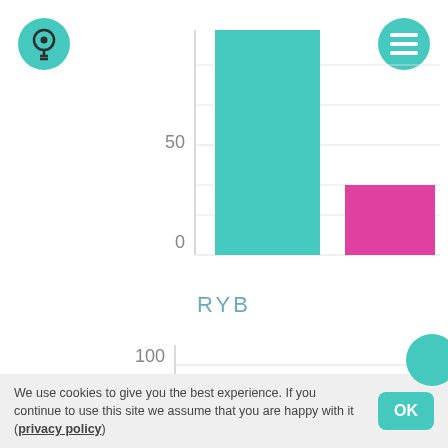[Figure (bar-chart): RYB]
RYB
[Figure (bar-chart): ]
We use cookies to give you the best experience. If you continue to use this site we assume that you are happy with it (privacy policy)